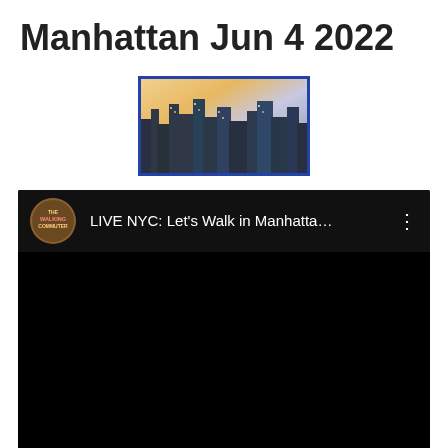Manhattan Jun 4 2022
[Figure (photo): Manhattan city skyline photo with blue border showing buildings at dusk/sunset with warm sky tones]
[Figure (screenshot): YouTube video embed showing 'LIVE NYC: Let's Walk in Manhatta...' with The Walking Commuter channel avatar, black video area]